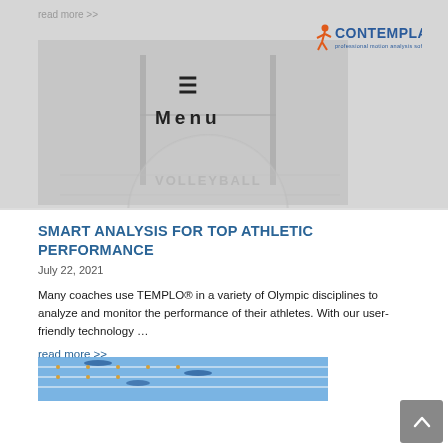[Figure (screenshot): Hero image of a volleyball court with players, partially faded/overlaid. Shows a Contemplas logo in top right and a hamburger menu icon with 'Menu' text overlaid.]
read more >>
[Figure (logo): Contemplas logo — red running figure with blue CONTEMPLAS text and tagline 'professional motion analysis software']
Menu
SMART ANALYSIS FOR TOP ATHLETIC PERFORMANCE
July 22, 2021
Many coaches use TEMPLO® in a variety of Olympic disciplines to analyze and monitor the performance of their athletes. With our user-friendly technology …
read more >>
[Figure (photo): Swimming competition photo showing swimmers in lanes from aerial/side view]